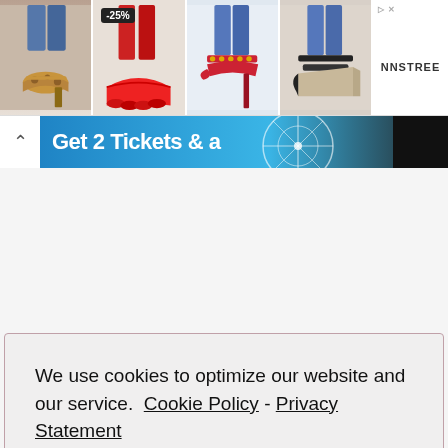[Figure (screenshot): Top advertisement banner showing four shoe images: leopard print heels, red chunky sneakers with -25% discount badge, red studded stilettos, and black wedge sandals. NNSTREE brand logo on right side.]
[Figure (screenshot): Blue banner with text 'Get 2 Tickets & a' and a ferris wheel image in the background.]
We use cookies to optimize our website and our service.  Cookie Policy - Privacy Statement
Accept
[Figure (screenshot): Social share bar with Facebook (4 shares), Pinterest (391 shares), Twitter share buttons, and total 395 SHARES count.]